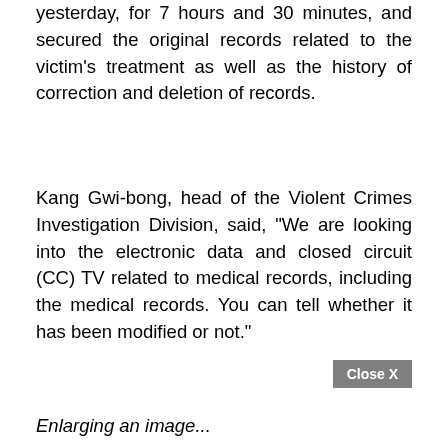yesterday, for 7 hours and 30 minutes, and secured the original records related to the victim's treatment as well as the history of correction and deletion of records.
Kang Gwi-bong, head of the Violent Crimes Investigation Division, said, "We are looking into the electronic data and closed circuit (CC) TV related to medical records, including the medical records. You can tell whether it has been modified or not."
Close X
Enlarging an image...